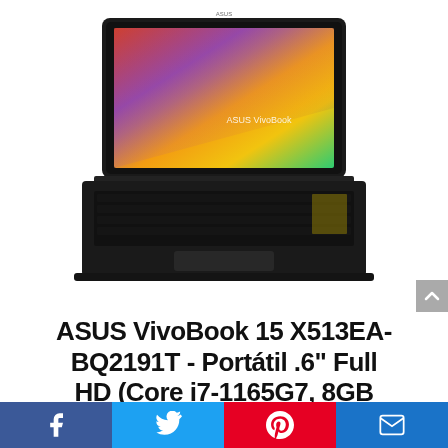[Figure (photo): ASUS VivoBook 15 laptop open, showing colorful gradient wallpaper (red, orange, yellow, green) on screen with 'ASUS VivoBook' branding, black keyboard and body, front-facing view.]
ASUS VivoBook 15 X513EA-BQ2191T - Portátil .6" Full HD (Core i7-1165G7, 8GB
[Figure (infographic): Social sharing bar with four buttons: Facebook (dark blue), Twitter (light blue), Pinterest (red), Email (blue)]